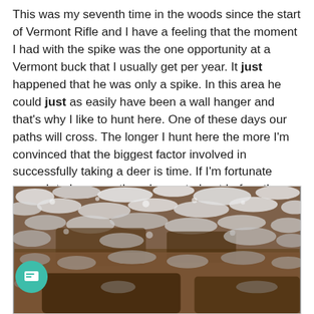This was my seventh time in the woods since the start of Vermont Rifle and I have a feeling that the moment I had with the spike was the one opportunity at a Vermont buck that I usually get per year. It just happened that he was only a spike. In this area he could just as easily have been a wall hanger and that's why I like to hunt here. One of these days our paths will cross. The longer I hunt here the more I'm convinced that the biggest factor involved in successfully taking a deer is time. If I'm fortunate enough to have another chance to hunt before the season ends perhaps it will be that one time when our paths cross, but I better throw a little luck in there too…
[Figure (photo): Close-up photograph of ground covered with light snow dusting over fallen leaves and dark earth, showing a deer track or disturbance in the snow.]